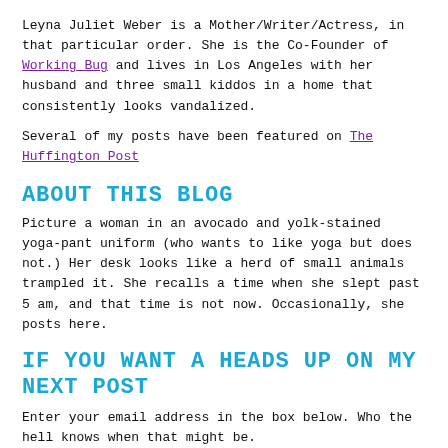Leyna Juliet Weber is a Mother/Writer/Actress, in that particular order. She is the Co-Founder of Working Bug and lives in Los Angeles with her husband and three small kiddos in a home that consistently looks vandalized.
Several of my posts have been featured on The Huffington Post
ABOUT THIS BLOG
Picture a woman in an avocado and yolk-stained yoga-pant uniform (who wants to like yoga but does not.) Her desk looks like a herd of small animals trampled it. She recalls a time when she slept past 5 am, and that time is not now. Occasionally, she posts here.
IF YOU WANT A HEADS UP ON MY NEXT POST
Enter your email address in the box below. Who the hell knows when that might be.
Email Address
Subscribe